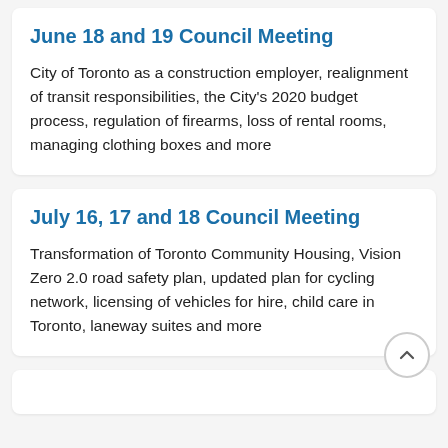June 18 and 19 Council Meeting
City of Toronto as a construction employer, realignment of transit responsibilities, the City's 2020 budget process, regulation of firearms, loss of rental rooms, managing clothing boxes and more
July 16, 17 and 18 Council Meeting
Transformation of Toronto Community Housing, Vision Zero 2.0 road safety plan, updated plan for cycling network, licensing of vehicles for hire, child care in Toronto, laneway suites and more